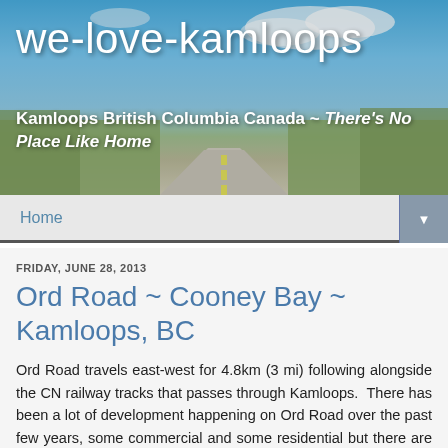[Figure (photo): Website header banner with a scenic road photo showing a highway with blue sky, clouds, green fields and trees in the background, used as background for the we-love-kamloops blog]
we-love-kamloops
Kamloops British Columbia Canada ~ There's No Place Like Home
Home ▼
FRIDAY, JUNE 28, 2013
Ord Road ~ Cooney Bay ~ Kamloops, BC
Ord Road travels east-west for 4.8km (3 mi) following alongside the CN railway tracks that passes through Kamloops. There has been a lot of development happening on Ord Road over the past few years, some commercial and some residential but there are other things happening that may not be as obvious. Let's drive Ord Road from where it leaves Westsyde Road at Batchelor Heights and see some